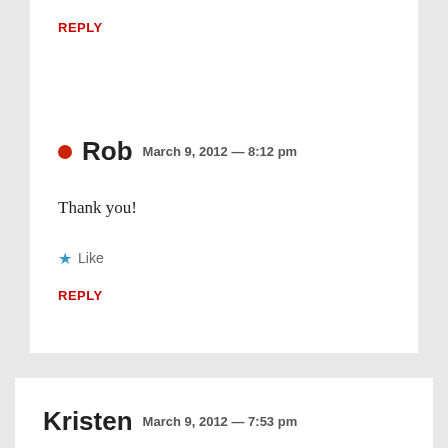REPLY
Rob  March 9, 2012 — 8:12 pm
Thank you!
Like
REPLY
Kristen  March 9, 2012 — 7:53 pm
These are beautiful photos. My husband and I